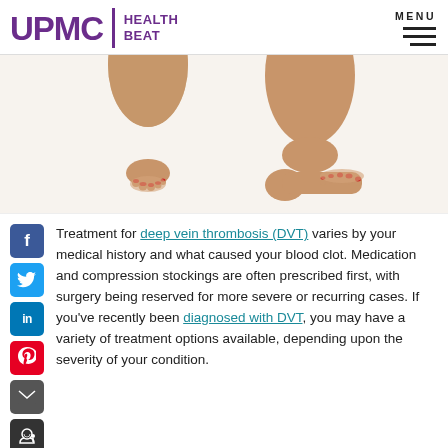UPMC | HEALTH BEAT
[Figure (photo): Two legs/feet wearing open-toe compression stockings, one foot flat and one on tiptoe, against a white background.]
Treatment for deep vein thrombosis (DVT) varies by your medical history and what caused your blood clot. Medication and compression stockings are often prescribed first, with surgery being reserved for more severe or recurring cases. If you've recently been diagnosed with DVT, you may have a variety of treatment options available, depending upon the severity of your condition.